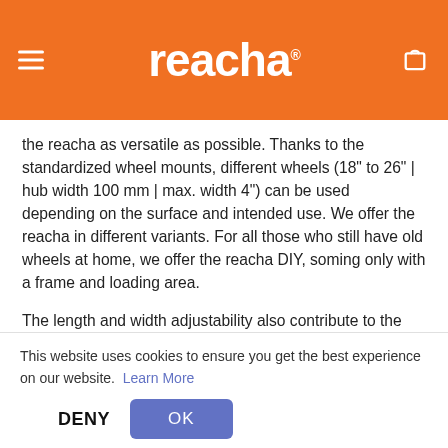reacha
the reacha as versatile as possible. Thanks to the standardized wheel mounts, different wheels (18" to 26" | hub width 100 mm | max. width 4") can be used depending on the surface and intended use. We offer the reacha in different variants. For all those who still have old wheels at home, we offer the reacha DIY, soming only with a frame and loading area.
The length and width adjustability also contribute to the versatility of the reacha. On narrow/short setting you can easily manoeuvre it through the
This website uses cookies to ensure you get the best experience on our website. Learn More
DENY
OK